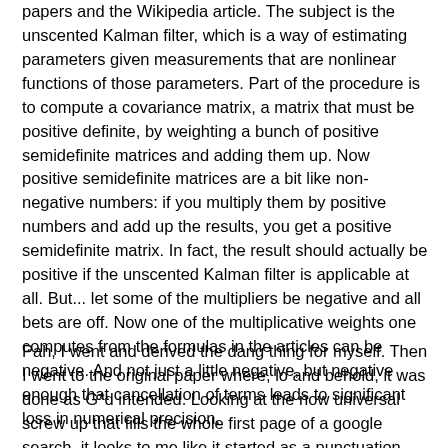papers and the Wikipedia article. The subject is the unscented Kalman filter, which is a way of estimating parameters given measurements that are nonlinear functions of those parameters. Part of the procedure is to compute a covariance matrix, a matrix that must be positive definite, by weighting a bunch of positive semidefinite matrices and adding them up. Now positive semidefinite matrices are a bit like non-negative numbers: if you multiply them by positive numbers and add up the results, you get a positive semidefinite matrix. In fact, the result should actually be positive if the unscented Kalman filter is applicable at all. But... let some of the multipliers be negative and all bets are off. Now one of the multiplicative weights one computes from the formulas in the articles can be negative. And not just a little negative, but negative enough that cancellation of terms leads to significant loss in numerical precision.
Pah, I went and derived the dang thing for myself. Then I went to the original paper where, lo and behold, it was done as G*d intended. Looking at the now universal screw up that fills the whole first page of a google search, it looks to me like it started as a punctuation error: confusing a dash with a